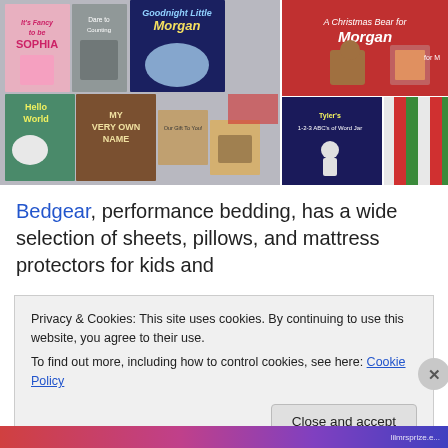[Figure (photo): Display of personalized children's books including 'It's Fancy to be Sophia', 'Goodnight Little Morgan', 'My Very Own Name', 'Hello World', 'A Christmas Bear for Morgan', Tyler's book of words, and other personalized children's books arranged on a table.]
Bedgear, performance bedding, has a wide selection of sheets, pillows, and mattress protectors for kids and
Privacy & Cookies: This site uses cookies. By continuing to use this website, you agree to their use.
To find out more, including how to control cookies, see here: Cookie Policy
Close and accept